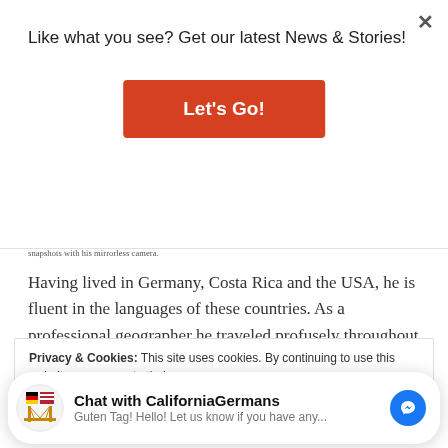Like what you see? Get our latest News & Stories!
Let's Go!
snapshots with his mirrorless camera.
Having lived in Germany, Costa Rica and the USA, he is fluent in the languages of these countries. As a professional geographer he traveled profusely throughout Latin America. He is living in Southern California for over thirty
Privacy & Cookies: This site uses cookies. By continuing to use this website, you agree to their use.
To find out more, including how to control cookies, see here: Privacy Policy
Chat with CaliforniaGermans
Guten Tag! Hello! Let us know if you have any...